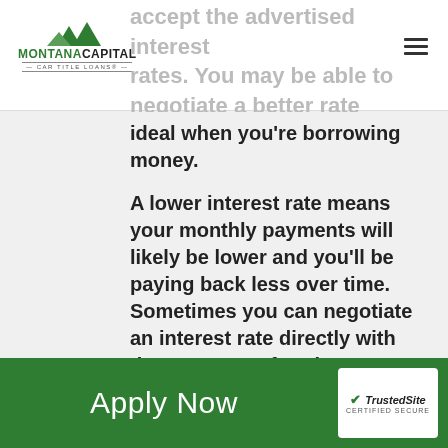Montana Capital Car Title Loans
accept the advertised interest rates. You may be able to negotiate a better rate which is ideal when you're borrowing money.
A lower interest rate means your monthly payments will likely be lower and you'll be paying back less over time. Sometimes you can negotiate an interest rate directly with the company after they've offered your loan terms. Other times, you may want to try and leverage the other title loan companies that are offering loan terms.
Apply Now | TrustedSite CERTIFIED SECURE